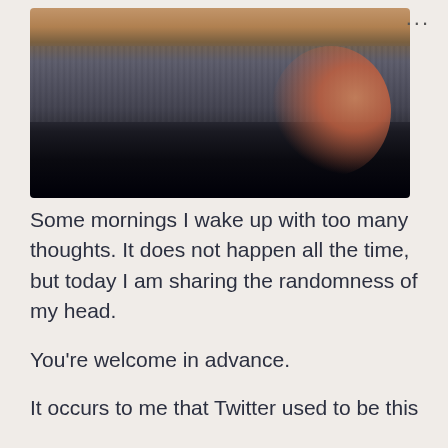[Figure (photo): A close-up photo of a hand holding a pencil over what appears to be a rough textured surface, photographed with warm orange/brown tones at the top and dark shadows at the bottom.]
Some mornings I wake up with too many thoughts. It does not happen all the time, but today I am sharing the randomness of my head.
You’re welcome in advance.
It occurs to me that Twitter used to be this